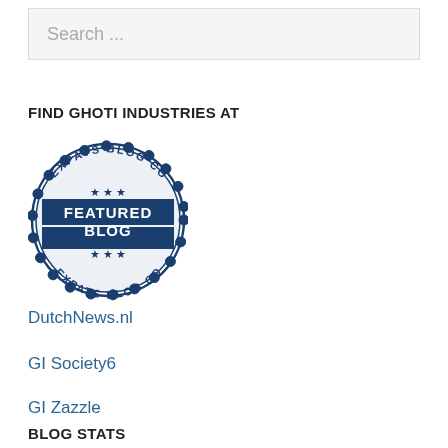Search ...
FIND GHOTI INDUSTRIES AT
[Figure (logo): Expats Blog Com Featured Blog stamp/seal logo in dark navy blue, circular with scalloped border, stars, diagonal banner reading FEATURED BLOG]
DutchNews.nl
GI Society6
GI Zazzle
BLOG STATS